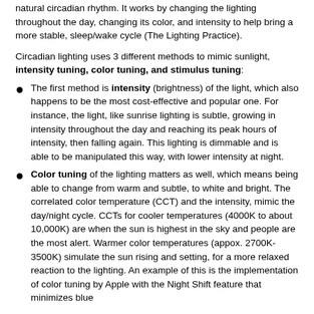natural circadian rhythm. It works by changing the lighting throughout the day, changing its color, and intensity to help bring a more stable, sleep/wake cycle (The Lighting Practice).
Circadian lighting uses 3 different methods to mimic sunlight, intensity tuning, color tuning, and stimulus tuning:
The first method is intensity (brightness) of the light, which also happens to be the most cost-effective and popular one. For instance, the light, like sunrise lighting is subtle, growing in intensity throughout the day and reaching its peak hours of intensity, then falling again. This lighting is dimmable and is able to be manipulated this way, with lower intensity at night.
Color tuning of the lighting matters as well, which means being able to change from warm and subtle, to white and bright. The correlated color temperature (CCT) and the intensity, mimic the day/night cycle. CCTs for cooler temperatures (4000K to about 10,000K) are when the sun is highest in the sky and people are the most alert. Warmer color temperatures (appox. 2700K-3500K) simulate the sun rising and setting, for a more relaxed reaction to the lighting. An example of this is the implementation of color tuning by Apple with the Night Shift feature that minimizes blue